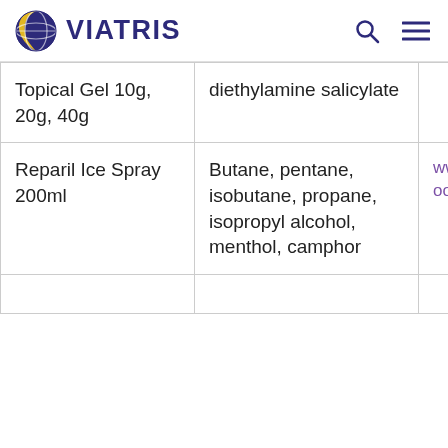VIATRIS
| Topical Gel 10g, 20g, 40g | diethylamine salicylate |  |
| Reparil Ice Spray 200ml | Butane, pentane, isobutane, propane, isopropyl alcohol, menthol, camphor | www.facebook.co |
|  |  |  |